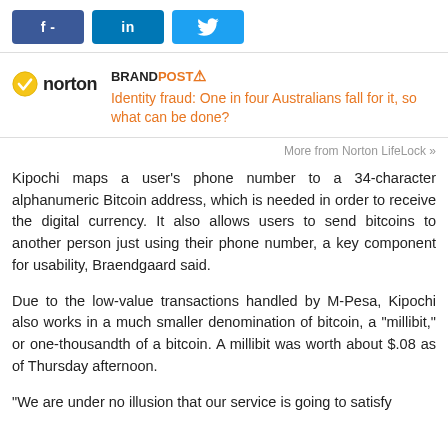[Figure (logo): Social media share buttons: Facebook (f-), LinkedIn (in), Twitter (bird icon)]
[Figure (logo): Norton logo with checkmark and brandpost advertisement: BRANDPOST with exclamation icon, title 'Identity fraud: One in four Australians fall for it, so what can be done?']
More from Norton LifeLock »
Kipochi maps a user's phone number to a 34-character alphanumeric Bitcoin address, which is needed in order to receive the digital currency. It also allows users to send bitcoins to another person just using their phone number, a key component for usability, Braendgaard said.
Due to the low-value transactions handled by M-Pesa, Kipochi also works in a much smaller denomination of bitcoin, a "millibit," or one-thousandth of a bitcoin. A millibit was worth about $.08 as of Thursday afternoon.
"We are under no illusion that our service is going to satisfy